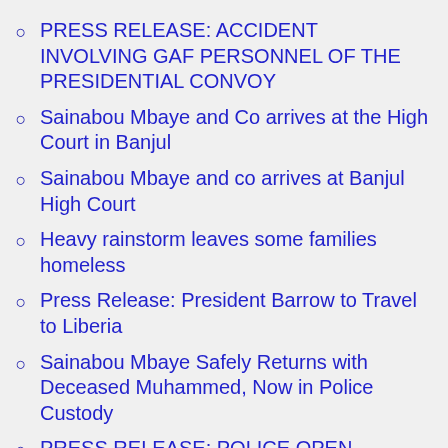PRESS RELEASE: ACCIDENT INVOLVING GAF PERSONNEL OF THE PRESIDENTIAL CONVOY
Sainabou Mbaye and Co arrives at the High Court in Banjul
Sainabou Mbaye and co arrives at Banjul High Court
Heavy rainstorm leaves some families homeless
Press Release: President Barrow to Travel to Liberia
Sainabou Mbaye Safely Returns with Deceased Muhammed, Now in Police Custody
PRESS RELEASE: POLICE OPEN INVESTIGATIONS INTO THE DEATH OF A CHILD UNDER SUSPICIOUS CIRCUMSTANCES
Serious accident along Banjul highway